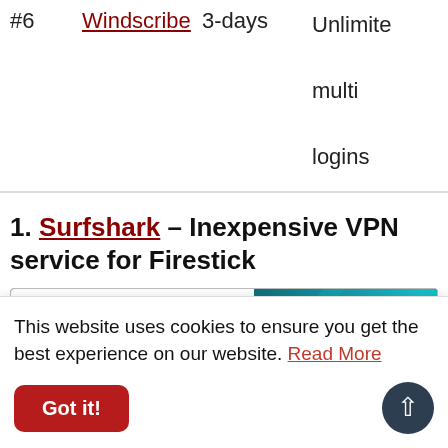| # | Name | Trial | Features |
| --- | --- | --- | --- |
| #6 | Windscribe | 3-days | Unlimited multi logins |
1. Surfshark – Inexpensive VPN service for Firestick
[Figure (screenshot): Screenshot of Surfshark VPN website showing navbar with logo and navigation items, and a promotional area with teal gradient background and text 'Get Surfshark VPN for FireStick']
This website uses cookies to ensure you get the best experience on our website. Read More
Got it!